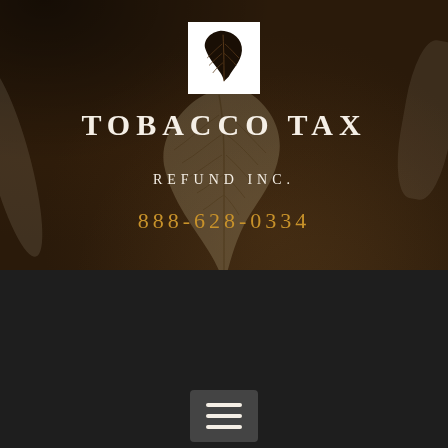[Figure (logo): Tobacco Tax Refund Inc. logo: white square with black feather quill icon]
TOBACCO TAX REFUND INC.
888-628-0334
🏠 / July
FLORIDA DOES NOT ALLOW FOR REMEDIATION OF HEMP